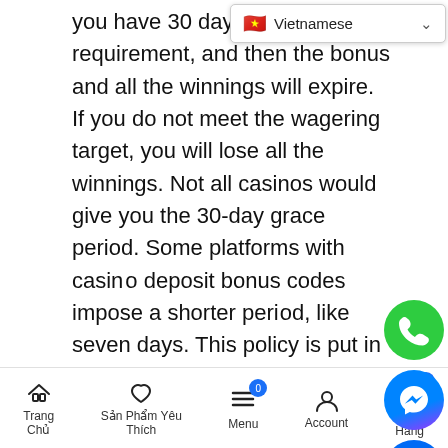you have 30 days to meet the requirement, and then the bonus and all the winnings will expire. If you do not meet the wagering target, you will lose all the winnings. Not all casinos would give you the 30-day grace period. Some platforms with casino deposit bonus codes impose a shorter period, like seven days. This policy is put in place to ensure that the money rotates between players and the casino, instead of it being stuck in your balance for a long time.
Order of the Balance
Trang Chủ | Sản Phẩm | Yêu Thích | Menu | Account | Giỏ Hàng